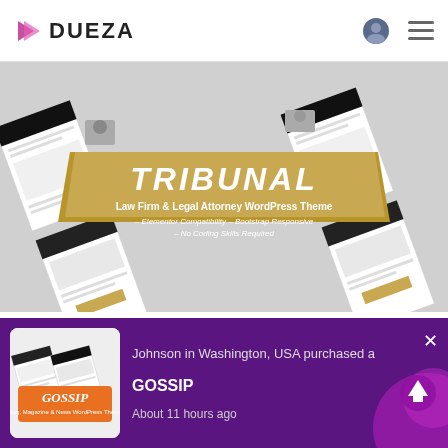[Figure (logo): Dueza logo with pink/magenta arrow icon and bold DUEZA text]
[Figure (screenshot): Tribunal WordPress theme banner showing multiple page layouts with gold and black design, text reads 'TRIBUNAL Law Firm & Legal Attorney WordPress Theme - Elementor Compatibility - Bootstrap Responsive - No Coding Skills Required']
TRIBUNAL
Lawyer, Law Firm & Legal Attorney
[Figure (screenshot): Gossip blog WordPress theme thumbnail]
Johnson in Washington, USA purchased a
GOSSIP
About 11 hours ago